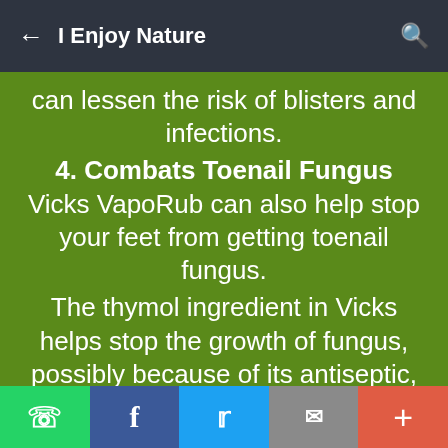← I Enjoy Nature 🔍
can lessen the risk of blisters and infections.
4. Combats Toenail Fungus
Vicks VapoRub can also help stop your feet from getting toenail fungus.
The thymol ingredient in Vicks helps stop the growth of fungus, possibly because of its antiseptic, antimicrobial, and antibacterial
[WhatsApp] [Facebook] [Twitter] [Email] [More]